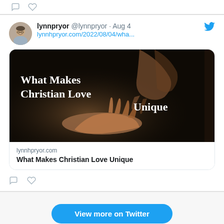[Figure (screenshot): Top partial tweet card showing comment and heart icons]
lynnpryor @lynnpryor · Aug 4
lynnhpryor.com/2022/08/04/wha...
[Figure (photo): Blog post preview image: dark background with two hands reaching toward each other, text overlay reading 'What Makes Christian Love Unique']
lynnhpryor.com
What Makes Christian Love Unique
View more on Twitter
Learn more about privacy on Twitter